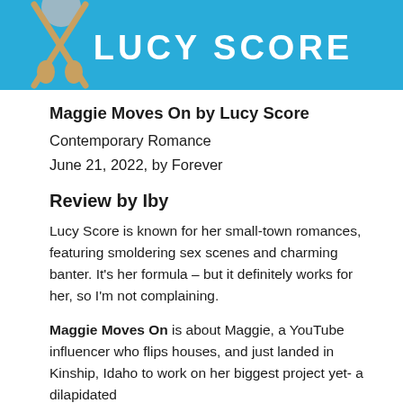[Figure (illustration): Book cover banner with light blue background showing crossed guitar/shovel icons and bold white text reading 'LUCY SCORE']
Maggie Moves On by Lucy Score
Contemporary Romance
June 21, 2022, by Forever
Review by Iby
Lucy Score is known for her small-town romances, featuring smoldering sex scenes and charming banter. It's her formula – but it definitely works for her, so I'm not complaining.
Maggie Moves On is about Maggie, a YouTube influencer who flips houses, and just landed in Kinship, Idaho to work on her biggest project yet- a dilapidated